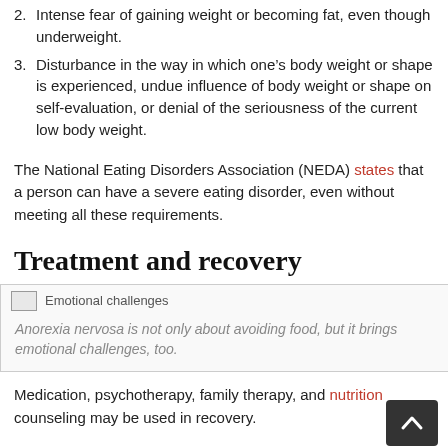2. Intense fear of gaining weight or becoming fat, even though underweight.
3. Disturbance in the way in which one’s body weight or shape is experienced, undue influence of body weight or shape on self-evaluation, or denial of the seriousness of the current low body weight.
The National Eating Disorders Association (NEDA) states that a person can have a severe eating disorder, even without meeting all these requirements.
Treatment and recovery
[Figure (photo): Image labeled 'Emotional challenges' showing a person with emotional/eating disorder challenges]
Anorexia nervosa is not only about avoiding food, but it brings emotional challenges, too.
Medication, psychotherapy, family therapy, and nutrition counseling may be used in recovery.